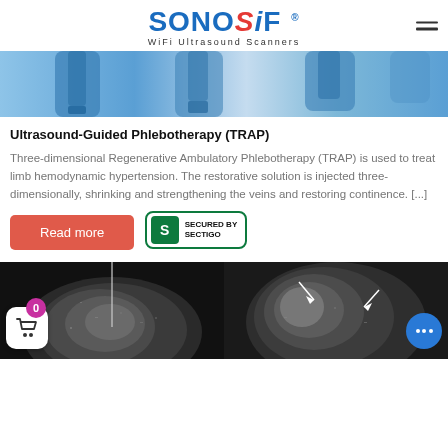SONOSIF WiFi Ultrasound Scanners
[Figure (photo): Blue-toned ultrasound scanner device hero image banner]
Ultrasound-Guided Phlebotherapy (TRAP)
Three-dimensional Regenerative Ambulatory Phlebotherapy (TRAP) is used to treat limb hemodynamic hypertension. The restorative solution is injected three-dimensionally, shrinking and strengthening the veins and restoring continence. [...]
[Figure (screenshot): Secured by Sectigo badge with green border]
[Figure (photo): Two ultrasound scan images side by side: left showing needle biopsy ultrasound, right showing mammogram with white arrows indicating findings]